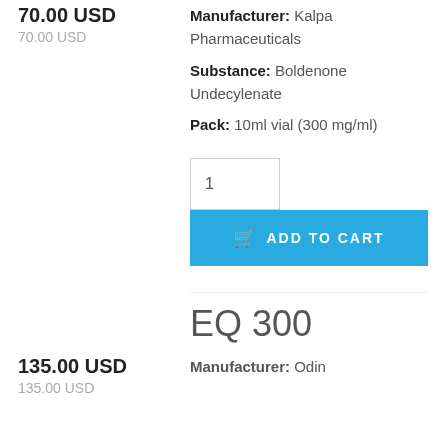70.00 USD
70.00 USD
Manufacturer: Kalpa Pharmaceuticals
Substance: Boldenone Undecylenate
Pack: 10ml vial (300 mg/ml)
1
ADD TO CART
EQ 300
135.00 USD
135.00 USD
Manufacturer: Odin